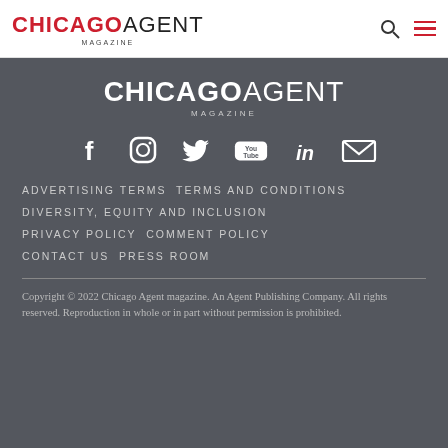CHICAGOAGENT MAGAZINE
[Figure (logo): Chicago Agent Magazine white logo centered in footer]
[Figure (infographic): Social media icons row: Facebook, Instagram, Twitter, YouTube, LinkedIn, Email]
ADVERTISING TERMS TERMS AND CONDITIONS
DIVERSITY, EQUITY AND INCLUSION
PRIVACY POLICY COMMENT POLICY
CONTACT US PRESS ROOM
Copyright © 2022 Chicago Agent magazine. An Agent Publishing Company. All rights reserved. Reproduction in whole or in part without permission is prohibited.